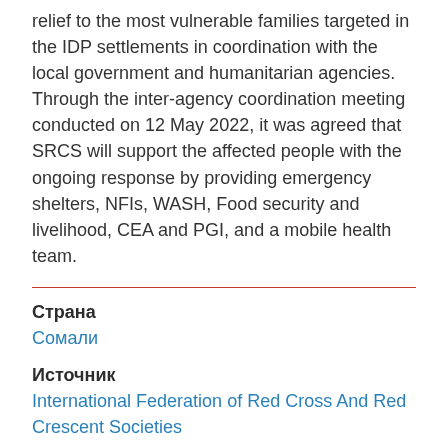relief to the most vulnerable families targeted in the IDP settlements in coordination with the local government and humanitarian agencies. Through the inter-agency coordination meeting conducted on 12 May 2022, it was agreed that SRCS will support the affected people with the ongoing response by providing emergency shelters, NFIs, WASH, Food security and livelihood, CEA and PGI, and a mobile health team.
Страна
Сомали
Источник
International Federation of Red Cross And Red Crescent Societies
Темы
Временное жилье и непродовольственные товары  /  Защита и права человека  /  Здоровье  /